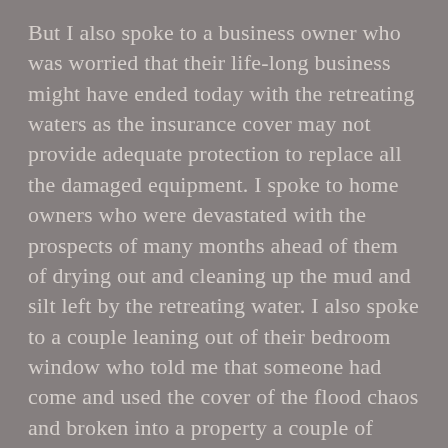But I also spoke to a business owner who was worried that their life-long business might have ended today with the retreating waters as the insurance cover may not provide adequate protection to replace all the damaged equipment. I spoke to home owners who were devastated with the prospects of many months ahead of them of drying out and cleaning up the mud and silt left by the retreating water. I also spoke to a couple leaning out of their bedroom window who told me that someone had come and used the cover of the flood chaos and broken into a property a couple of doors down from them and burgled it as it had been left empty over Christmas. What kind of low-life wanker would do that?